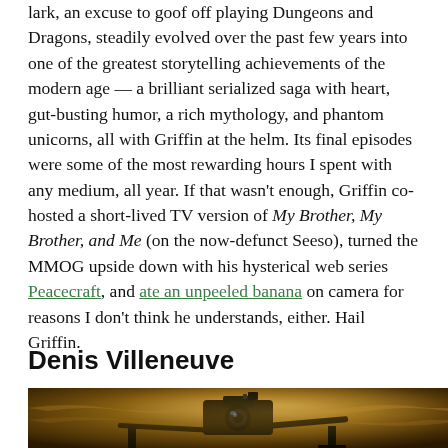lark, an excuse to goof off playing Dungeons and Dragons, steadily evolved over the past few years into one of the greatest storytelling achievements of the modern age — a brilliant serialized saga with heart, gut-busting humor, a rich mythology, and phantom unicorns, all with Griffin at the helm. Its final episodes were some of the most rewarding hours I spent with any medium, all year. If that wasn't enough, Griffin co-hosted a short-lived TV version of My Brother, My Brother, and Me (on the now-defunct Seeso), turned the MMOG upside down with his hysterical web series Peacecraft, and ate an unpeeled banana on camera for reasons I don't think he understands, either. Hail Griffin.
Denis Villeneuve
[Figure (photo): A film camera on a crane/dolly against a warm golden-brown textured background, likely a behind-the-scenes production photo.]